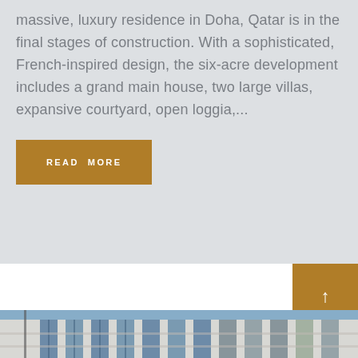massive, luxury residence in Doha, Qatar is in the final stages of construction. With a sophisticated, French-inspired design, the six-acre development includes a grand main house, two large villas, expansive courtyard, open loggia,...
READ MORE
[Figure (photo): Exterior photograph of a modern multi-story building with large blue-tinted glass windows and white/light stone facade, photographed from street level looking up.]